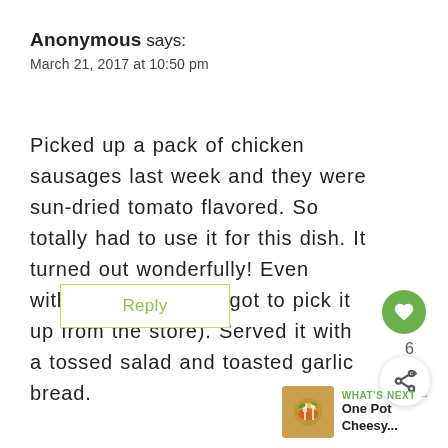Anonymous says:
March 21, 2017 at 10:50 pm
Picked up a pack of chicken sausages last week and they were sun-dried tomato flavored. So totally had to use it for this dish. It turned out wonderfully! Even without the basil (forgot to pick it up from the store). Served it with a tossed salad and toasted garlic bread.
Reply
6
[Figure (infographic): Green circular heart/like button icon]
[Figure (infographic): White circular share button icon with share symbol]
[Figure (infographic): What's Next widget showing a food image thumbnail with text 'WHAT'S NEXT → One Pot Cheesy...']